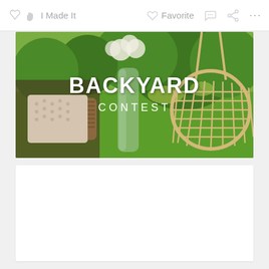I Made It   Favorite   ...
[Figure (photo): Backyard Contest banner image showing a garden scene with wicker basket, knitted blanket, glass vase with white flowers, and a macrame swing chair, with green trees and grass in the background. Text overlay reads BACKYARD CONTEST.]